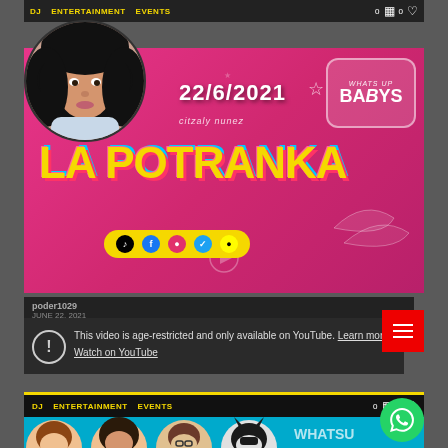DJ   ENTERTAINMENT   EVENTS   0   0
[Figure (photo): Pink promotional banner for 'La Potranka' (citzaly nunez) dated 22/6/2021, with social media icons (TikTok, Facebook, Instagram, Twitter, Snapchat) and 'WHATS UP BABYS' speech bubble, with circular profile photo of young woman with curly hair]
poder1029
JUNE 22, 2021
This video is age-restricted and only available on YouTube. Learn more
Watch on YouTube
DJ   ENTERTAINMENT   EVENTS   0   0
[Figure (photo): Bottom strip showing cartoon avatar thumbnails on a teal background with WHATS UP text, and green WhatsApp floating button]